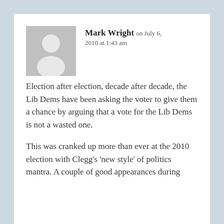Mark Wright on July 6, 2010 at 1:43 am
Election after election, decade after decade, the Lib Dems have been asking the voter to give them a chance by arguing that a vote for the Lib Dems is not a wasted one.
This was cranked up more than ever at the 2010 election with Clegg's 'new style' of politics mantra. A couple of good appearances during